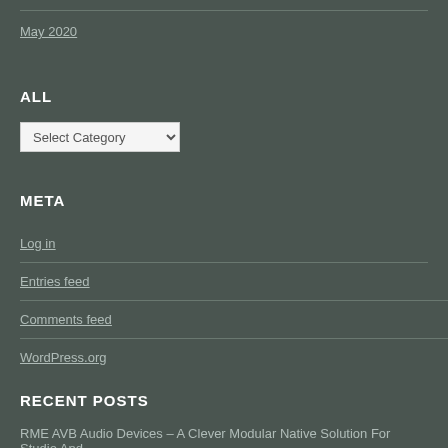May 2020
ALL
Select Category (dropdown)
META
Log in
Entries feed
Comments feed
WordPress.org
RECENT POSTS
RME AVB Audio Devices – A Clever Modular Native Solution For Studio And